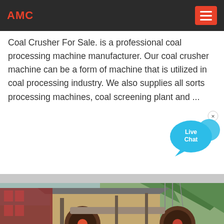AMC
Coal Crusher For Sale. is a professional coal processing machine manufacturer. Our coal crusher machine can be a form of machine that is utilized in coal processing industry. We also supplies all sorts processing machines, coal screening plant and ...
[Figure (illustration): Live Chat widget bubble in blue with text 'Live Chat']
[Figure (photo): Industrial coal crusher machinery and equipment at a mining site with buildings and mountains in the background]